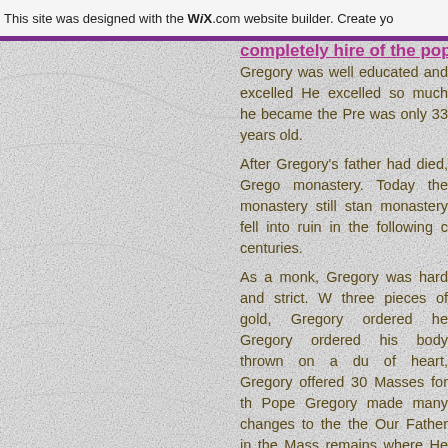This site was designed with the WIX.com website builder. Create yo
Gregory was well educated and excelled He excelled so much he became the Pre was only 33 years old.
After Gregory's father had died, Grego monastery. Today the monastery still stan monastery fell into ruin in the following c centuries.
As a monk, Gregory was hard and strict. W three pieces of gold, Gregory ordered he Gregory ordered his body thrown on a du of heart, Gregory offered 30 Masses for th Pope Gregory made many changes to the the Our Father in the Mass remains where He emphasized the aspect of service to increasing in number and they were g